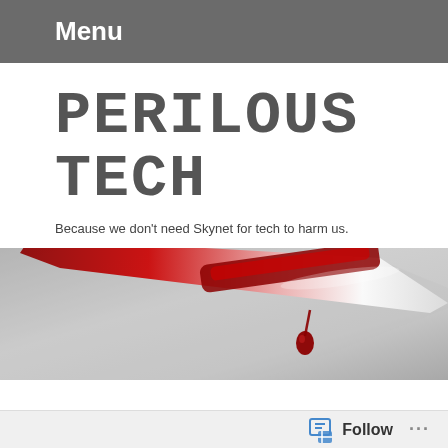Menu
PERILOUS TECH
Because we don't need Skynet for tech to harm us.
[Figure (photo): A knife blade with blood dripping from its tip against a gray background]
[Figure (photo): Colorful tech/circuit board image partially visible at bottom]
Follow ...